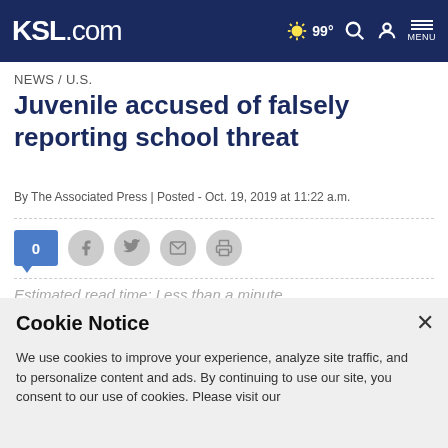KSL.com — 99° weather, search, account, menu
NEWS / U.S.
Juvenile accused of falsely reporting school threat
By The Associated Press | Posted - Oct. 19, 2019 at 11:22 a.m.
[Figure (infographic): Social sharing bar with comment count (0), Facebook, Twitter, email, and print icons]
Estimated read time: Less than a minute
Cookie Notice — We use cookies to improve your experience, analyze site traffic, and to personalize content and ads. By continuing to use our site, you consent to our use of cookies. Please visit our